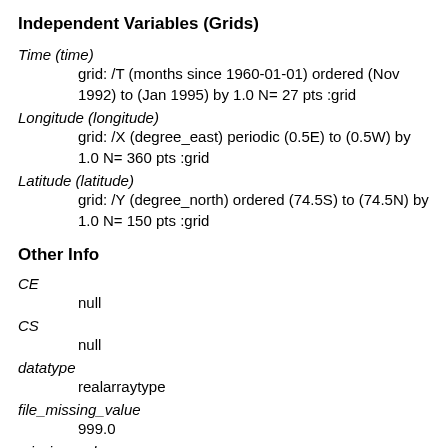Independent Variables (Grids)
Time (time)
        grid: /T (months since 1960-01-01) ordered (Nov 1992) to (Jan 1995) by 1.0 N= 27 pts :grid
Longitude (longitude)
        grid: /X (degree_east) periodic (0.5E) to (0.5W) by 1.0 N= 360 pts :grid
Latitude (latitude)
        grid: /Y (degree_north) ordered (74.5S) to (74.5N) by 1.0 N= 150 pts :grid
Other Info
CE
        null
CS
        null
datatype
        realarraytype
file_missing_value
        999.0
missing_value